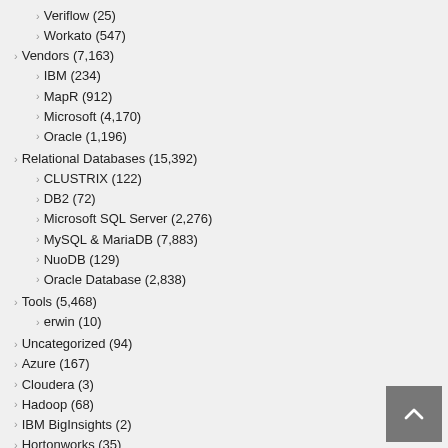Veriflow (25)
Workato (547)
Vendors (7,163)
IBM (234)
MapR (912)
Microsoft (4,170)
Oracle (1,196)
Relational Databases (15,392)
CLUSTRIX (122)
DB2 (72)
Microsoft SQL Server (2,276)
MySQL & MariaDB (7,883)
NuoDB (129)
Oracle Database (2,838)
Tools (5,468)
erwin (10)
Uncategorized (94)
Azure (167)
Cloudera (3)
Hadoop (68)
IBM BigInsights (2)
Hortonworks (35)
PostgreSQL (133)